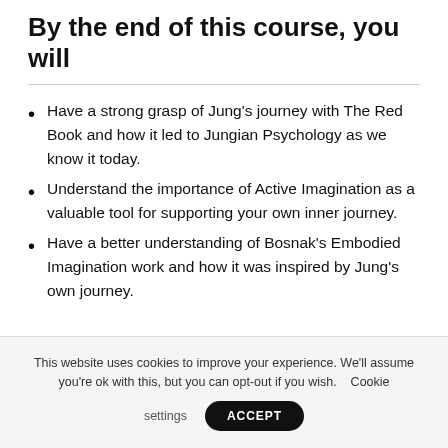By the end of this course, you will
Have a strong grasp of Jung’s journey with The Red Book and how it led to Jungian Psychology as we know it today.
Understand the importance of Active Imagination as a valuable tool for supporting your own inner journey.
Have a better understanding of Bosnak’s Embodied Imagination work and how it was inspired by Jung’s own journey.
This website uses cookies to improve your experience. We’ll assume you’re ok with this, but you can opt-out if you wish.  Cookie settings  ACCEPT